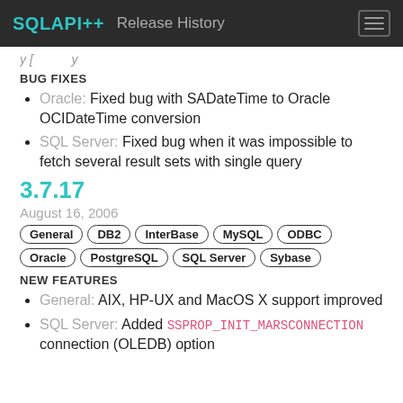SQLAPI++ Release History
[truncated/partial line]
BUG FIXES
Oracle: Fixed bug with SADateTime to Oracle OCIDateTime conversion
SQL Server: Fixed bug when it was impossible to fetch several result sets with single query
3.7.17
August 16, 2006
General DB2 InterBase MySQL ODBC Oracle PostgreSQL SQL Server Sybase
NEW FEATURES
General: AIX, HP-UX and MacOS X support improved
SQL Server: Added SSPROP_INIT_MARSCONNECTION connection (OLEDB) option